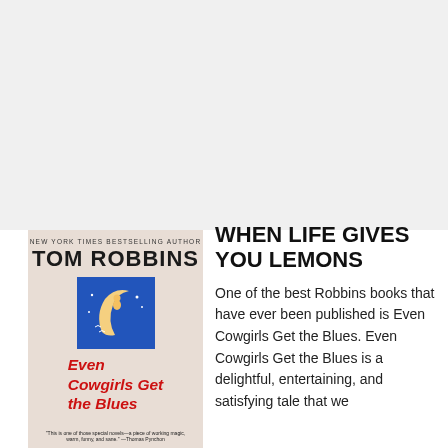[Figure (photo): Book cover of 'Even Cowgirls Get the Blues' by Tom Robbins. Pink/mauve background with a blue square illustration showing a woman on a crescent moon. Title in red italic text. Quote at bottom from Thomas Pynchon.]
WHEN LIFE GIVES YOU LEMONS
One of the best Robbins books that have ever been published is Even Cowgirls Get the Blues. Even Cowgirls Get the Blues is a delightful, entertaining, and satisfying tale that we